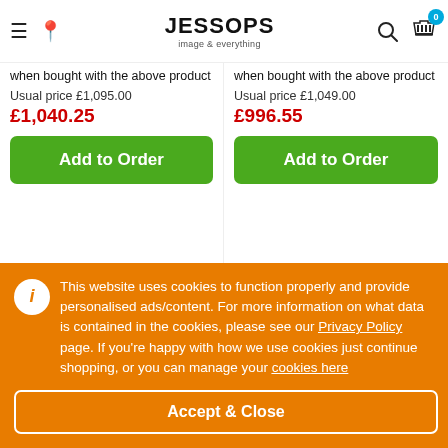[Figure (screenshot): Jessops website header with hamburger menu, location pin, Jessops logo with tagline 'image & everything', search icon, and shopping cart with 0 badge]
when bought with the above product
Usual price £1,095.00
£1,040.25
when bought with the above product
Usual price £1,049.00
£996.55
Add to Order
Add to Order
[Figure (photo): Camera lens front view, left product]
[Figure (photo): Camera lens front view, right product]
This website uses cookies to function properly and provide personalised ads/content. For more information on what data is contained in the cookies, please see our Privacy Policy page. If you're happy with how we use cookies just continue shopping, or you can manage your cookies here
Accept & Close